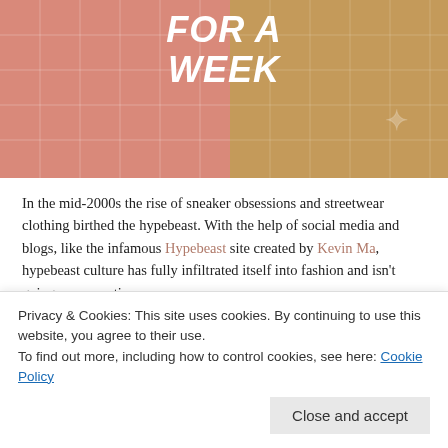[Figure (photo): Banner image showing streetwear-dressed figures on pink/tan background with bold white italic text reading 'FOR A WEEK']
In the mid-2000s the rise of sneaker obsessions and streetwear clothing birthed the hypebeast. With the help of social media and blogs, like the infamous Hypebeast site created by Kevin Ma, hypebeast culture has fully infiltrated itself into fashion and isn't going away anytime soon.
In my opinion, you're more likely to see an average woman wearing a sneaker than an ankle boot. This is the result of the birth of the hypbeast. I am the total opposite of a hypebeast, but like everyone else, I'm intrigued by the culture.
I decided to dress like a hypebeast for a week. Five days to be exact. I was
Privacy & Cookies: This site uses cookies. By continuing to use this website, you agree to their use.
To find out more, including how to control cookies, see here: Cookie Policy
Close and accept